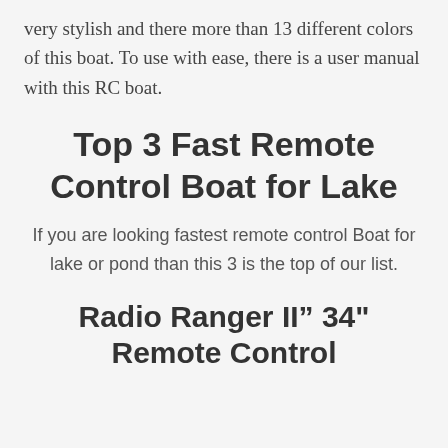very stylish and there more than 13 different colors of this boat. To use with ease, there is a user manual with this RC boat.
Top 3 Fast Remote Control Boat for Lake
If you are looking fastest remote control Boat for lake or pond than this 3 is the top of our list.
Radio Ranger II" 34" Remote Control